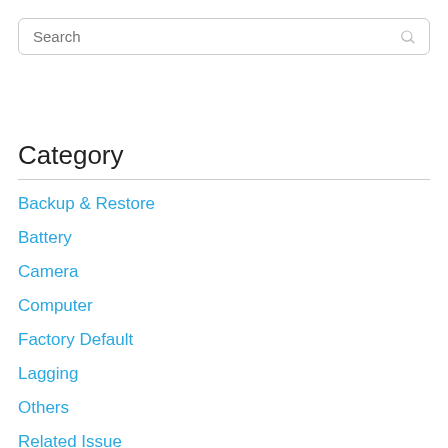[Figure (screenshot): Search input box with placeholder text 'Search' and a search icon on the right]
Category
Backup & Restore
Battery
Camera
Computer
Factory Default
Lagging
Others
Related Issue
Smartphone & Tablet